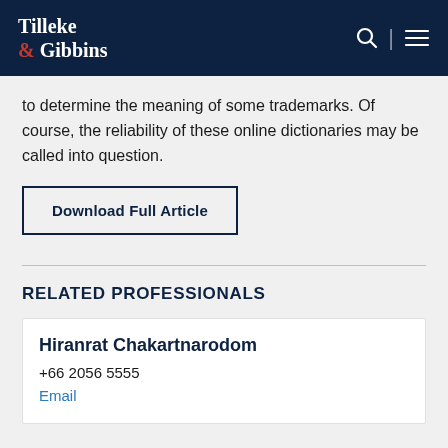Tilleke & Gibbins
to determine the meaning of some trademarks. Of course, the reliability of these online dictionaries may be called into question.
Download Full Article
RELATED PROFESSIONALS
Hiranrat Chakartnarodom
+66 2056 5555
Email